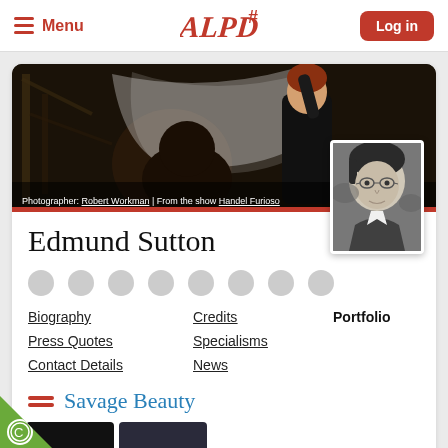Menu | ALPD# | Log in
[Figure (photo): Theatrical scene showing two performers, one lifting a white veil over another. Dark dramatic lighting. Credit: Photographer: Robert Workman | From the show Handel Furioso]
[Figure (photo): Black and white portrait photo of Edmund Sutton, a young man with glasses]
Edmund Sutton
Biography
Credits
Portfolio
Press Quotes
Specialisms
Contact Details
News
Savage Beauty